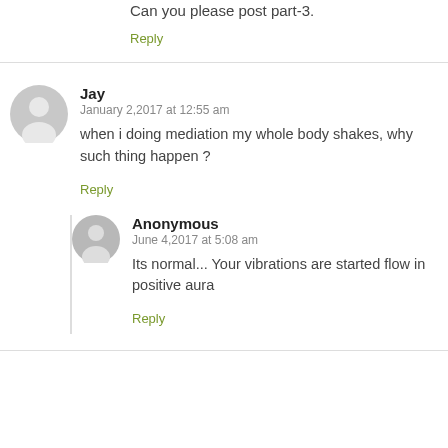Can you please post part-3.
Reply
Jay
January 2,2017 at 12:55 am
when i doing mediation my whole body shakes, why such thing happen ?
Reply
Anonymous
June 4,2017 at 5:08 am
Its normal... Your vibrations are started flow in positive aura
Reply